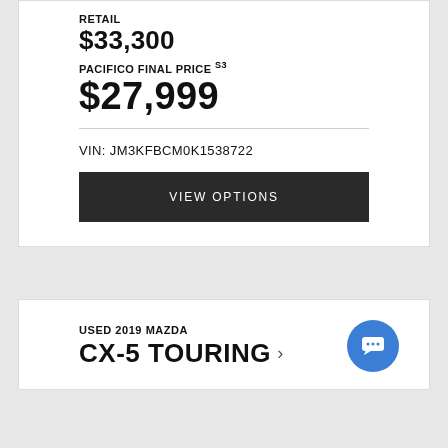RETAIL
$33,300
PACIFICO FINAL PRICE S3
$27,999
VIN: JM3KFBCM0K1538722
VIEW OPTIONS
USED 2019 MAZDA
CX-5 TOURING